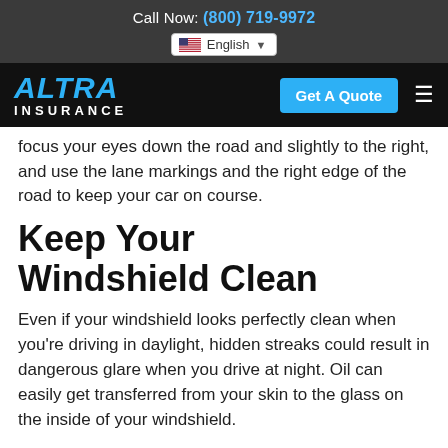Call Now: (800) 719-9972
[Figure (logo): Altra Insurance logo with blue italic ALTRA text and white INSURANCE text below, on black background, with Get A Quote button and hamburger menu]
focus your eyes down the road and slightly to the right, and use the lane markings and the right edge of the road to keep your car on course.
Keep Your Windshield Clean
Even if your windshield looks perfectly clean when you’re driving in daylight, hidden streaks could result in dangerous glare when you drive at night. Oil can easily get transferred from your skin to the glass on the inside of your windshield.